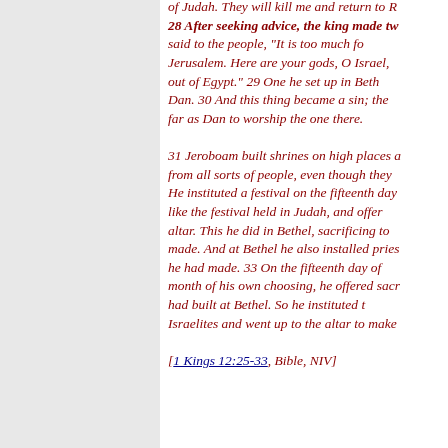of Judah. They will kill me and return to Rehoboam king of Judah. 28 After seeking advice, the king made two golden calves. He said to the people, "It is too much for you to go up to Jerusalem. Here are your gods, O Israel, who brought you up out of Egypt." 29 One he set up in Bethel, and the other in Dan. 30 And this thing became a sin; the people went even as far as Dan to worship the one there. 31 Jeroboam built shrines on high places and appointed priests from all sorts of people, even though they were not Levites. 32 He instituted a festival on the fifteenth day of the eighth month, like the festival held in Judah, and offered sacrifices on the altar. This he did in Bethel, sacrificing to the calves he had made. And at Bethel he also installed priests at the high places he had made. 33 On the fifteenth day of the eighth month, a month of his own choosing, he offered sacrifices on the altar he had built at Bethel. So he instituted the festival for the Israelites and went up to the altar to make offerings. [1 Kings 12:25-33, Bible, NIV]